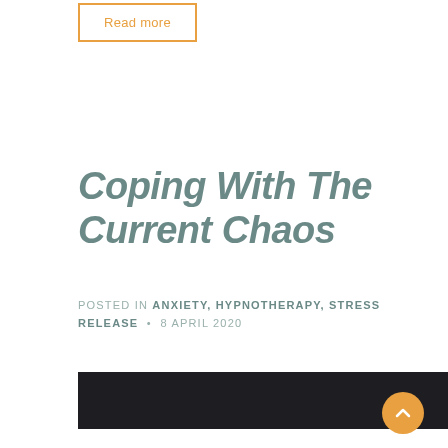Read more
Coping With The Current Chaos
POSTED IN ANXIETY, HYPNOTHERAPY, STRESS RELEASE • 8 APRIL 2020
[Figure (other): Dark background image strip]
[Figure (other): Orange circular scroll-to-top button with upward chevron arrow]